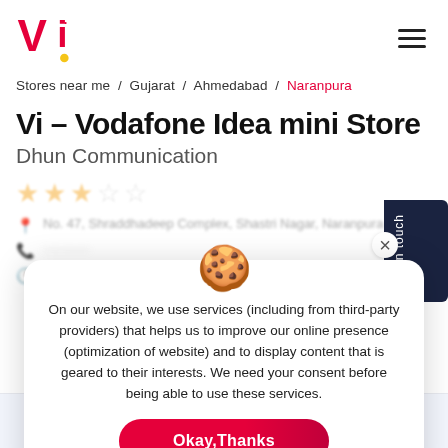[Figure (logo): Vi (Vodafone Idea) logo in red with yellow dot]
Stores near me / Gujarat / Ahmedabad / Naranpura
Vi - Vodafone Idea mini Store
Dhun Communication
No. 47, Shraddhadeep Complex, Shastri Nagar, Naranpura
Closed for the day
On our website, we use services (including from third-party providers) that helps us to improve our online presence (optimization of website) and to display content that is geared to their interests. We need your consent before being able to use these services.
Okay,Thanks